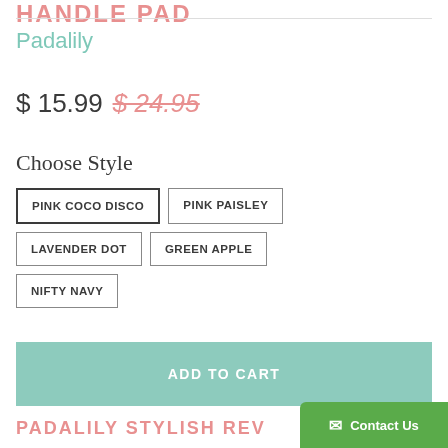HANDLE PAD
Padalily
$ 15.99  $ 24.95
Choose Style
PINK COCO DISCO
PINK PAISLEY
LAVENDER DOT
GREEN APPLE
NIFTY NAVY
ADD TO CART
PADALILY STYLISH REV…
Contact Us